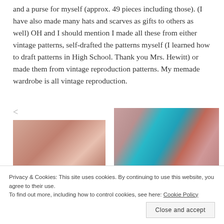and a purse for myself (approx. 49 pieces including those). (I have also made many hats and scarves as gifts to others as well) OH and I should mention I made all these from either vintage patterns, self-drafted the patterns myself (I learned how to draft patterns in High School. Thank you Mrs. Hewitt) or made them from vintage reproduction patterns. My memade wardrobe is all vintage reproduction.
<
[Figure (photo): Photo of pink/salmon textured fabric]
[Figure (photo): Photo of teal/turquoise garment on pink fabric background with red accessory]
Privacy & Cookies: This site uses cookies. By continuing to use this website, you agree to their use. To find out more, including how to control cookies, see here: Cookie Policy